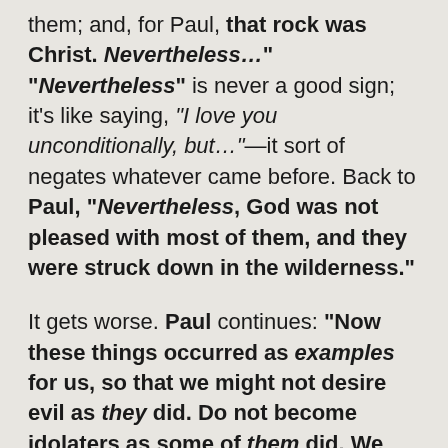them; and, for Paul, that rock was Christ. Nevertheless… "Nevertheless" is never a good sign; it's like saying, "I love you unconditionally, but..."—it sort of negates whatever came before. Back to Paul, "Nevertheless, God was not pleased with most of them, and they were struck down in the wilderness."
It gets worse. Paul continues: "Now these things occurred as examples for us, so that we might not desire evil as they did. Do not become idolaters as some of them did. We must not indulge in sexual immorality as some of them did, and twenty-three thousand fell in a single day. We must not put Christ to